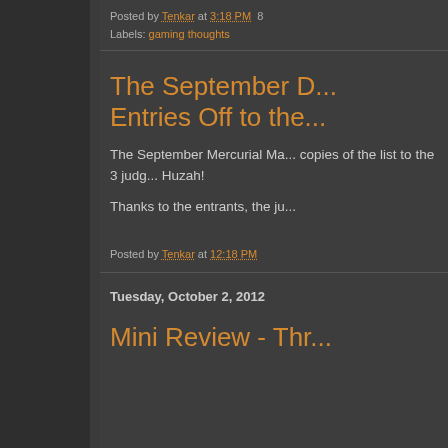Posted by Tenkar at 3:18 PM  8
Labels: gaming thoughts
The September D... Entries Off to the...
The September Mercurial Ma... copies of the list to the 3 judg... Huzah!
Thanks to the entrants, the ju...
Posted by Tenkar at 12:18 PM
Tuesday, October 2, 2012
Mini Review - Thr...